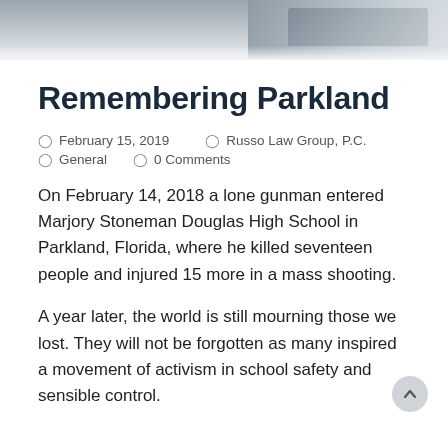[Figure (photo): Partial view of a laptop on a desk, shown in greyscale/muted blue-grey tones at the top of the page.]
Remembering Parkland
February 15, 2019   Russo Law Group, P.C.   General   0 Comments
On February 14, 2018 a lone gunman entered Marjory Stoneman Douglas High School in Parkland, Florida, where he killed seventeen people and injured 15 more in a mass shooting.
A year later, the world is still mourning those we lost. They will not be forgotten as many inspired a movement of activism in school safety and sensible control.